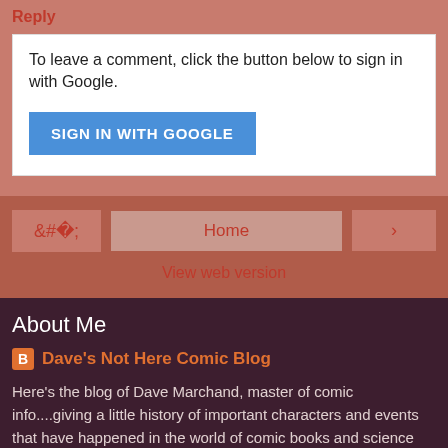Reply
To leave a comment, click the button below to sign in with Google.
SIGN IN WITH GOOGLE
Home
View web version
About Me
Dave's Not Here Comic Blog
Here's the blog of Dave Marchand, master of comic info....giving a little history of important characters and events that have happened in the world of comic books and science fiction!
View my complete profile
Powered by Blogger.